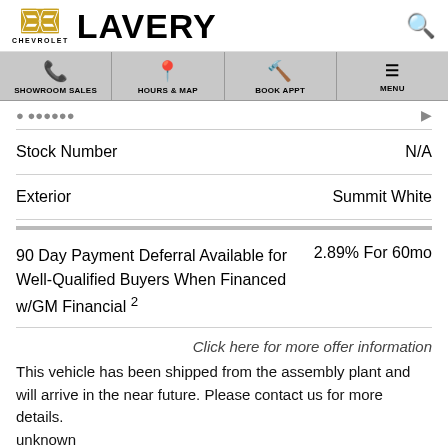LAVERY CHEVROLET
|  |  |
| --- | --- |
| Stock Number | N/A |
| Exterior | Summit White |
90 Day Payment Deferral Available for Well-Qualified Buyers When Financed w/GM Financial 2    2.89% For 60mo
Click here for more offer information
This vehicle has been shipped from the assembly plant and will arrive in the near future. Please contact us for more details. unknown